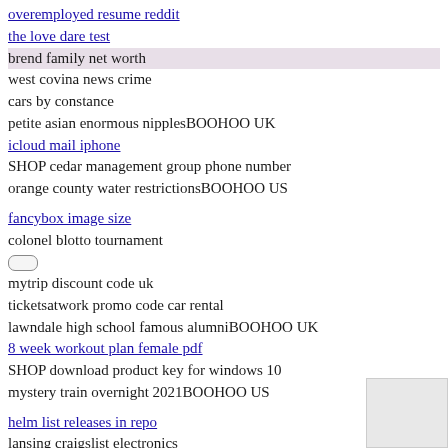overemployed resume reddit
the love dare test
brend family net worth
west covina news crime
cars by constance
petite asian enormous nipplesBOOHOO UK
icloud mail iphone
SHOP cedar management group phone number
orange county water restrictionsBOOHOO US
fancybox image size
colonel blotto tournament
mytrip discount code uk
ticketsatwork promo code car rental
lawndale high school famous alumniBOOHOO UK
8 week workout plan female pdf
SHOP download product key for windows 10
mystery train overnight 2021BOOHOO US
helm list releases in repo
lansing craigslist electronics
Barn sanctuary book